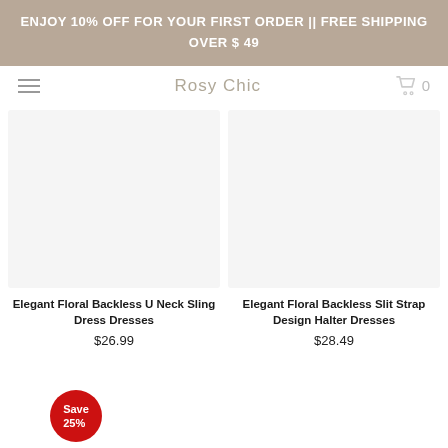ENJOY 10% OFF FOR YOUR FIRST ORDER || FREE SHIPPING OVER $ 49
Rosy Chic
[Figure (illustration): Product image placeholder for Elegant Floral Backless U Neck Sling Dress Dresses]
Elegant Floral Backless U Neck Sling Dress Dresses
$26.99
[Figure (illustration): Product image placeholder for Elegant Floral Backless Slit Strap Design Halter Dresses]
Elegant Floral Backless Slit Strap Design Halter Dresses
$28.49
Save 25%